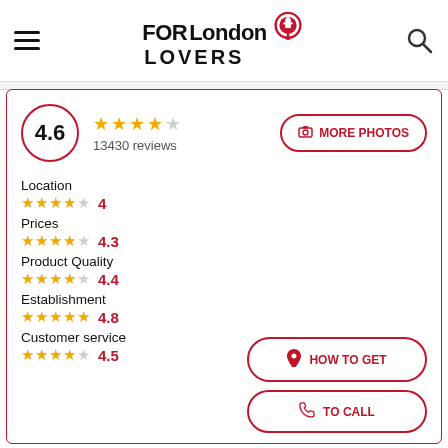FORLondon LOVERS
[Figure (infographic): Business listing card showing overall rating of 4.6 with 13430 reviews and category ratings: Location 4, Prices 4.3, Product Quality 4.4, Establishment 4.8, Customer service 4.5. Buttons for MORE PHOTOS, HOW TO GET, and TO CALL.]